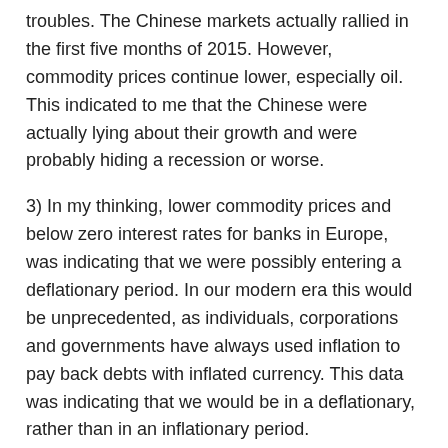troubles. The Chinese markets actually rallied in the first five months of 2015. However, commodity prices continue lower, especially oil. This indicated to me that the Chinese were actually lying about their growth and were probably hiding a recession or worse.
3) In my thinking, lower commodity prices and below zero interest rates for banks in Europe, was indicating that we were possibly entering a deflationary period. In our modern era this would be unprecedented, as individuals, corporations and governments have always used inflation to pay back debts with inflated currency. This data was indicating that we would be in a deflationary, rather than in an inflationary period.
4) I reasoned that the outcome, could lead to another banking crisis. Why? The last banking crisis was caused by banks holding worthless debt in the mortgage bond market. If oil prices continue lower, as the charts showed, countries like Russia, Venezuela, Brazil, Mexico , etc. and even Saudi Arabia could be overwhelmed with their enormous debt obligations.